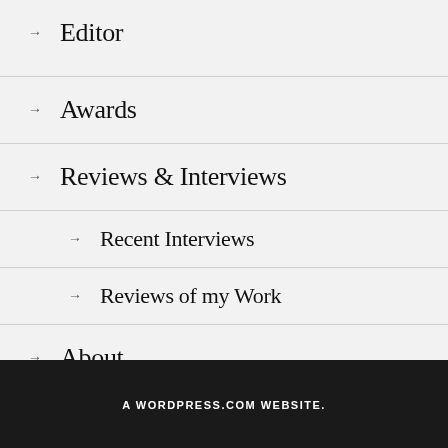→ Editor
→ Awards
→ Reviews & Interviews
→ Recent Interviews
→ Reviews of my Work
→ About
→ Contact
A WORDPRESS.COM WEBSITE.